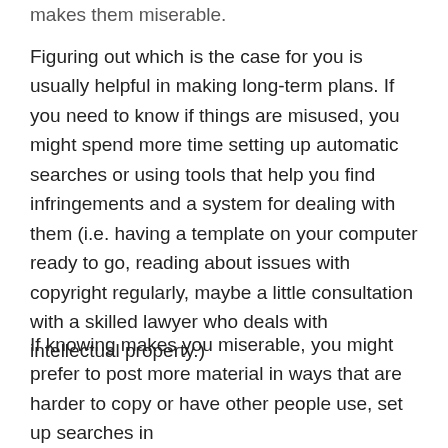makes them miserable.
Figuring out which is the case for you is usually helpful in making long-term plans. If you need to know if things are misused, you might spend more time setting up automatic searches or using tools that help you find infringements and a system for dealing with them (i.e. having a template on your computer ready to go, reading about issues with copyright regularly, maybe a little consultation with a skilled lawyer who deals with intellectual property.)
If knowing makes you miserable, you might prefer to post more material in ways that are harder to copy or have other people use, set up searches in